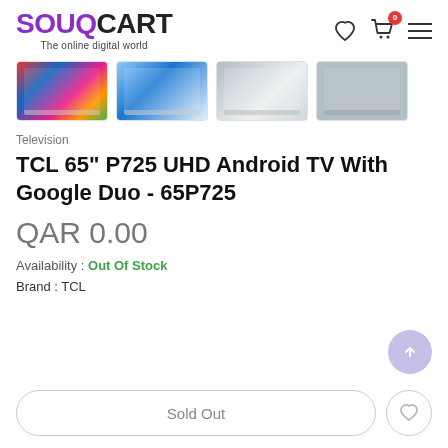[Figure (logo): SouqCart logo with tagline 'The online digital world'. SOUQ in purple, CART in black.]
[Figure (photo): Four product thumbnail images of TCL 65-inch TV from different angles/colors]
Television
TCL 65" P725 UHD Android TV With Google Duo - 65P725
QAR 0.00
Availability : Out Of Stock
Brand : TCL
Sold Out